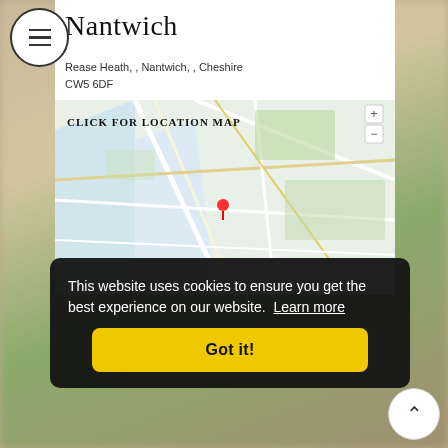Nantwich
Rease Heath, , Nantwich, , Cheshire
CW5 6DF
[Figure (map): Google Maps location map showing Nantwich area with roads and a location pin. Overlaid with 'CLICK FOR LOCATION MAP' label.]
This website uses cookies to ensure you get the best experience on our website. Learn more
Got it!